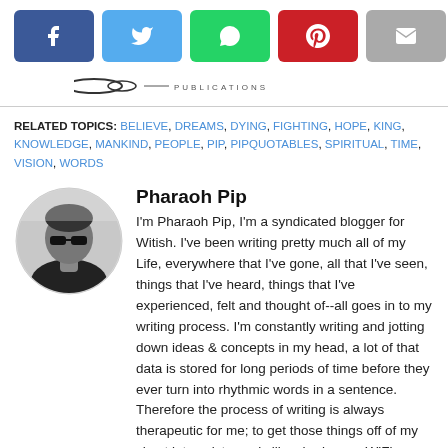[Figure (other): Social share buttons: Facebook (blue), Twitter (light blue), WhatsApp (green), Pinterest (red), Email (gray)]
[Figure (logo): Publications logo with stylized text and decorative lines]
RELATED TOPICS: BELIEVE, DREAMS, DYING, FIGHTING, HOPE, KING, KNOWLEDGE, MANKIND, PEOPLE, PIP, PIPQUOTABLES, SPIRITUAL, TIME, VISION, WORDS
[Figure (photo): Circular black and white photo of Pharaoh Pip wearing sunglasses]
Pharaoh Pip
I'm Pharaoh Pip, I'm a syndicated blogger for Witish. I've been writing pretty much all of my Life, everywhere that I've gone, all that I've seen, things that I've heard, things that I've experienced, felt and thought of--all goes in to my writing process. I'm constantly writing and jotting down ideas & concepts in my head, a lot of that data is stored for long periods of time before they ever turn into rhythmic words in a sentence. Therefore the process of writing is always therapeutic for me; to get those things off of my chest into existence is like sharing my WiFi connection with you, that's why my writings are somewhat all over the place subject matter wise.